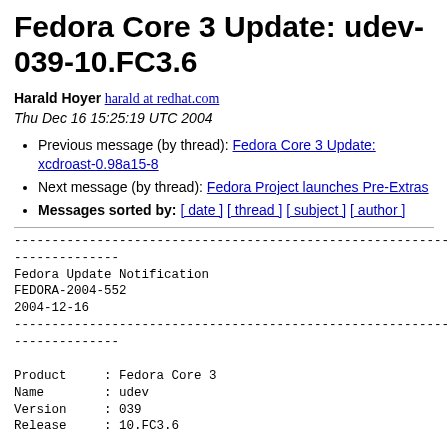Fedora Core 3 Update: udev-039-10.FC3.6
Harald Hoyer harald at redhat.com
Thu Dec 16 15:25:19 UTC 2004
Previous message (by thread): Fedora Core 3 Update: xcdroast-0.98a15-8
Next message (by thread): Fedora Project launches Pre-Extras
Messages sorted by: [ date ] [ thread ] [ subject ] [ author ]
------------------------------------------------------------------------
Fedora Update Notification
FEDORA-2004-552
2004-12-16
------------------------------------------------------------------------

Product     : Fedora Core 3
Name        : udev
Version     : 039
Release     : 10.FC3.6